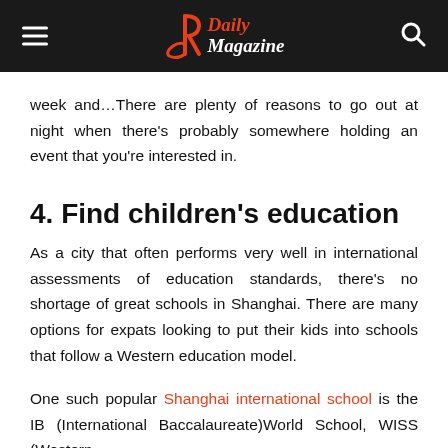R Daily Magazine
week and…There are plenty of reasons to go out at night when there's probably somewhere holding an event that you're interested in.
4. Find children's education
As a city that often performs very well in international assessments of education standards, there's no shortage of great schools in Shanghai. There are many options for expats looking to put their kids into schools that follow a Western education model.
One such popular Shanghai international school is the IB (International Baccalaureate)World School, WISS (Western